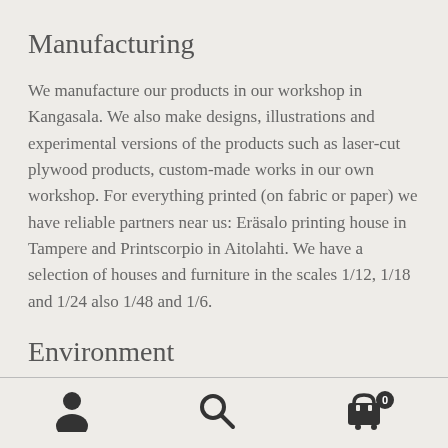Manufacturing
We manufacture our products in our workshop in Kangasala. We also make designs, illustrations and experimental versions of the products such as laser-cut plywood products, custom-made works in our own workshop. For everything printed (on fabric or paper) we have reliable partners near us: Eräsalo printing house in Tampere and Printscorpio in Aitolahti. We have a selection of houses and furniture in the scales 1/12, 1/18 and 1/24 also 1/48 and 1/6.
Environment